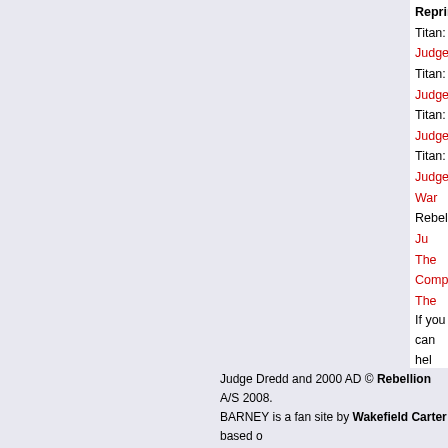Reprinted Titan: Judge [Dredd] Titan: Judge [Dredd] Titan: Judge [Dredd] Titan: Judge [Dredd] War Rebellion: Ju[dge Dredd] The Complet[e...] The Complet[e...] The Complet[e...] Eagle: Judge[...] Eagle: Judge[...] Eagle: Judge[...] Eagle: Judge[...] Eagle: Judge[...] Fleetway Qua[lity] John Burns Hachette: Jud[ge Dredd] Apocalypse
If you can hel[p with] this page, ple[ase...]
Judge Dredd and 2000 AD © Rebellion A/S 2008. BARNEY is a fan site by Wakefield Carter based o[n...]